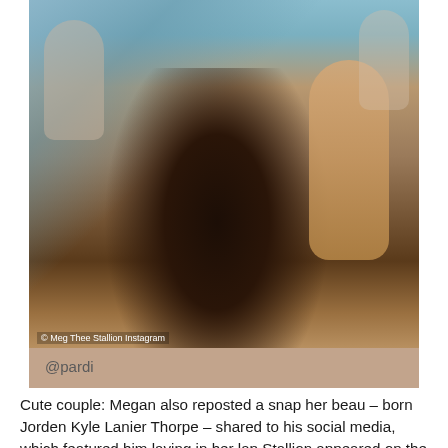[Figure (photo): Photo of a man laying in a woman's lap on a boat/yacht setting. The man is shirtless wearing sunglasses and a bandana/headwrap, with others visible in the background. The photo has a warm tan/beige Instagram-style border.]
@pardi
© Meg Thee Stallion Instagram
Cute couple: Megan also reposted a snap her beau – born Jorden Kyle Lanier Thorpe – shared to his social media, which featured him laying in her lap Stallion appeared on the cover of the latest edition of Rolling Stone magazine as she talked candidly about the alleged incident, the aftermath, how she became